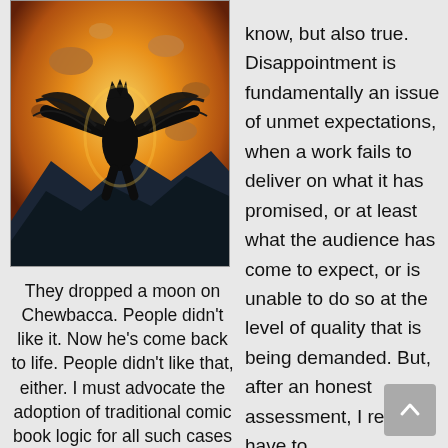[Figure (illustration): Comic book illustration of a dark winged figure with arms outstretched against an orange/yellow explosive background with debris and dark rock formations in the foreground]
They dropped a moon on Chewbacca. People didn't like it. Now he's come back to life. People didn't like that, either. I must advocate the adoption of traditional comic book logic for all such cases in the future:
know, but also true. Disappointment is fundamentally an issue of unmet expectations, when a work fails to deliver on what it has promised, or at least what the audience has come to expect, or is unable to do so at the level of quality that is being demanded. But, after an honest assessment, I really have to